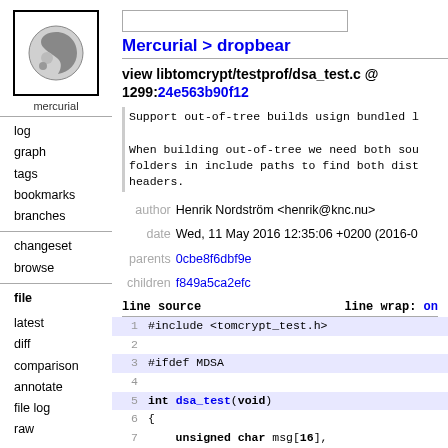[Figure (logo): Mercurial logo: grey comma/yin-yang style icon with text 'mercurial' below]
log
graph
tags
bookmarks
branches
changeset
browse
file
latest
diff
comparison
annotate
file log
raw
Mercurial > dropbear
view libtomcrypt/testprof/dsa_test.c @ 1299:24e563b90f12
Support out-of-tree builds usign bundled l
When building out-of-tree we need both sou folders in include paths to find both dist headers.
author Henrik Nordström <henrik@knc.nu>
date Wed, 11 May 2016 12:35:06 +0200 (2016-0
parents 0cbe8f6dbf9e
children f849a5ca2efc
| line source |  | line wrap: | on |
| --- | --- | --- | --- |
| 1 | #include <tomcrypt_test.h> |  |  |
| 2 |  |  |  |
| 3 | #ifdef MDSA |  |  |
| 4 |  |  |  |
| 5 | int dsa_test(void) |  |  |
| 6 | { |  |  |
| 7 |     unsigned char msg[16], |  |  |